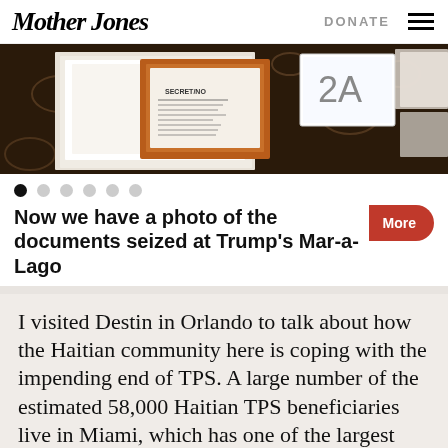Mother Jones  DONATE
[Figure (photo): Photo of classified documents laid out on a patterned surface, with a framed document and a card labeled '2A' visible.]
Now we have a photo of the documents seized at Trump's Mar-a-Lago
I visited Destin in Orlando to talk about how the Haitian community here is coping with the impending end of TPS. A large number of the estimated 58,000 Haitian TPS beneficiaries live in Miami, which has one of the largest